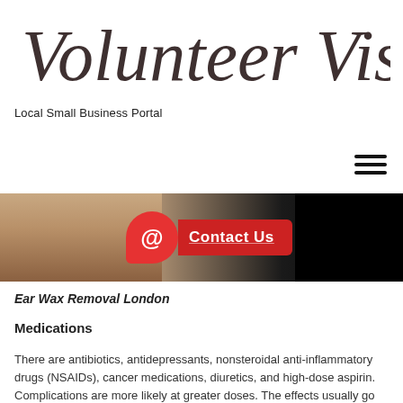[Figure (logo): Volunteer Visions cursive script logo in dark brown/black ink style]
Local Small Business Portal
[Figure (illustration): Hamburger menu icon (three horizontal lines)]
[Figure (photo): Banner image showing a person and a red Contact Us button with @ symbol]
Ear Wax Removal London
Medications
There are antibiotics, antidepressants, nonsteroidal anti-inflammatory drugs (NSAIDs), cancer medications, diuretics, and high-dose aspirin. Complications are more likely at greater doses. The effects usually go away after you stop taking them. If you suspect your meds are to blame